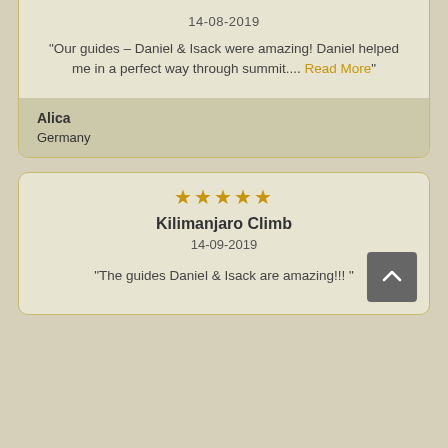14-08-2019
"Our guides – Daniel & Isack were amazing! Daniel helped me in a perfect way through summit.... Read More"
Alica
Germany
[Figure (other): Five gold stars rating]
Kilimanjaro Climb
14-09-2019
"The guides Daniel & Isack are amazing!!! "